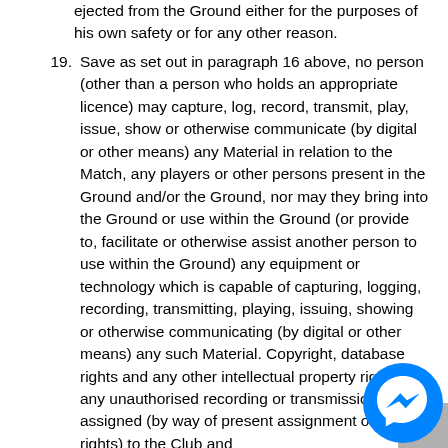ejected from the Ground either for the purposes of his own safety or for any other reason.
19. Save as set out in paragraph 16 above, no person (other than a person who holds an appropriate licence) may capture, log, record, transmit, play, issue, show or otherwise communicate (by digital or other means) any Material in relation to the Match, any players or other persons present in the Ground and/or the Ground, nor may they bring into the Ground or use within the Ground (or provide to, facilitate or otherwise assist another person to use within the Ground) any equipment or technology which is capable of capturing, logging, recording, transmitting, playing, issuing, showing or otherwise communicating (by digital or other means) any such Material. Copyright, database rights and any other intellectual property rights in any unauthorised recording or transmission is assigned (by way of present assignment of future rights) to the Club and